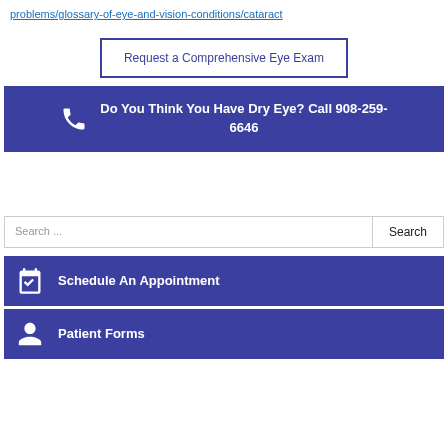problems/glossary-of-eye-and-vision-conditions/cataract
Request a Comprehensive Eye Exam
Do You Think You Have Dry Eye? Call 908-259-6646
Search ...
Schedule An Appointment
Patient Forms